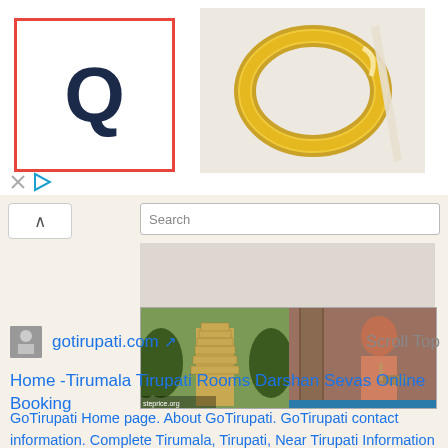[Figure (screenshot): Advertisement banner with Quora-like logo (Q letter in red-bordered box) on left and gold ring/bangle on right side, with close and play ad buttons below]
[Figure (screenshot): Browser UI with back button (up caret), search bar with 'Search' placeholder text, and a website preview showing temple images (gopuram tower) and a person, with steprice.org watermark]
gotirupati.com
Scroll Top
Home -Tirumala Tirupati Rooms Darshan Sevas Online Booking
GoTirupati Home page. About GoTirupati. GoTirupati contact information. Complete Tirumala, Tirupati, Near Tirupati Information Hub. Temple News and Events.